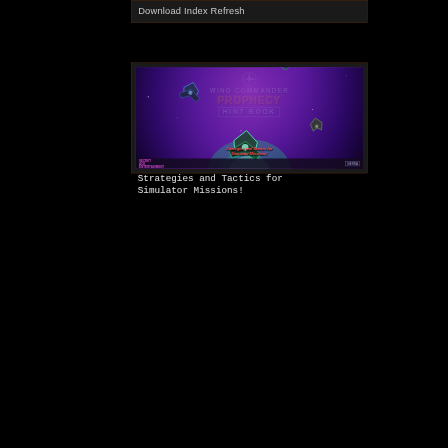Download Index Refresh
[Figure (photo): Wing Commander Prophecy Hint Book cover featuring alien spacecraft against a purple nebula background with title text 'Wing Commander Prophecy Hint Book' and subtitle 'Strategies and Tactics for Simulator Missions!']
Strategies and Tactics for Simulator Missions!